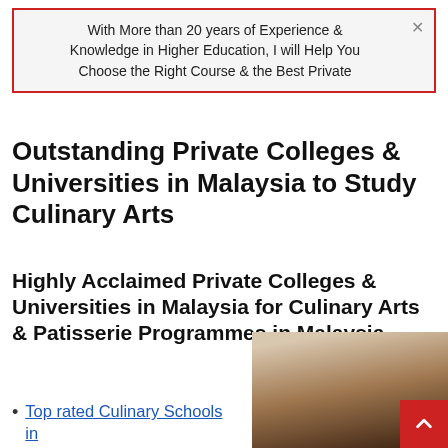With More than 20 years of Experience & Knowledge in Higher Education, I will Help You Choose the Right Course & the Best Private
Outstanding Private Colleges & Universities in Malaysia to Study Culinary Arts
Highly Acclaimed Private Colleges & Universities in Malaysia for Culinary Arts & Patisserie Programmes in Malaysia
Top rated Culinary Schools in
[Figure (photo): Portrait photo of a person, partially visible, with dark hair against a light background]